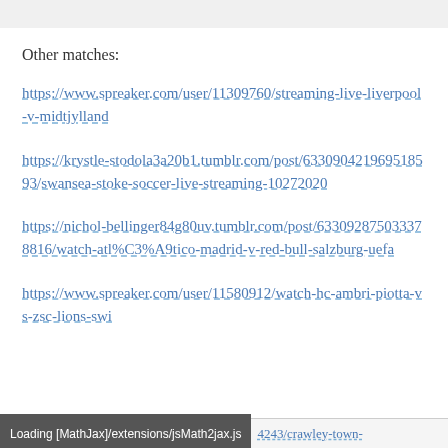Other matches:
https://www.spreaker.com/user/11309760/streaming-live-liverpool-v-midtjylland
https://krystle-stodola3a20b1.tumblr.com/post/633090421969518593/swansea-stoke-soccer-live-streaming-10272020
https://nichol-bellinger84g80uv.tumblr.com/post/633092875033378816/watch-atl%C3%A9tico-madrid-v-red-bull-salzburg-uefa
https://www.spreaker.com/user/11580912/watch-hc-ambri-piotta-vs-zsc-lions-swi
Loading [MathJax]/extensions/jsMath2jax.js    4243/crawley-town-